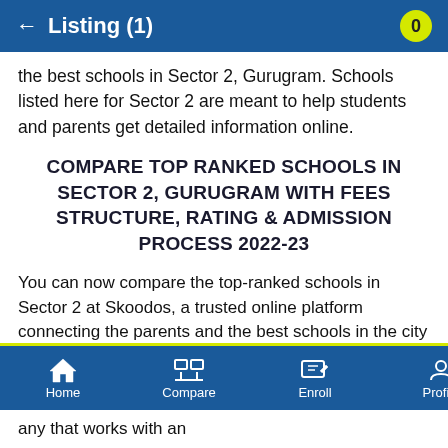← Listing (1)   0
the best schools in Sector 2, Gurugram. Schools listed here for Sector 2 are meant to help students and parents get detailed information online.
COMPARE TOP RANKED SCHOOLS IN SECTOR 2, GURUGRAM WITH FEES STRUCTURE, RATING & ADMISSION PROCESS 2022-23
You can now compare the top-ranked schools in Sector 2 at Skoodos, a trusted online platform connecting the parents and the best schools in the city in the most hassle-free and convenient manner. We list the best schools in Sector 2 along with their fee structure, ratings, and admission process for 2022-23. We ensure that the parents receive the most verified and authentic information about various schools in Sector 2 and choose the right one
Home Compare Enroll Profile  any that works with an